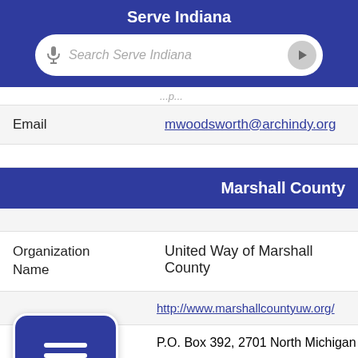Serve Indiana
[Figure (screenshot): Search bar with microphone icon and placeholder text 'Search Serve Indiana']
Email	mwoodsworth@archindy.org
Marshall County
Organization Name	United Way of Marshall County
http://www.marshallcountyuw.org/
P.O. Box 392, 2701 North Michigan Stree
Plymouth, IN 46563